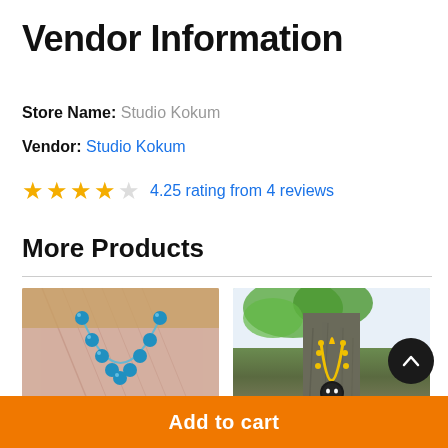Vendor Information
Store Name: Studio Kokum
Vendor: Studio Kokum
4.25 rating from 4 reviews
More Products
[Figure (photo): Blue beaded necklace on a person wearing a pink saree]
[Figure (photo): Yellow necklace with a pendant displayed against a tree trunk]
Add to cart